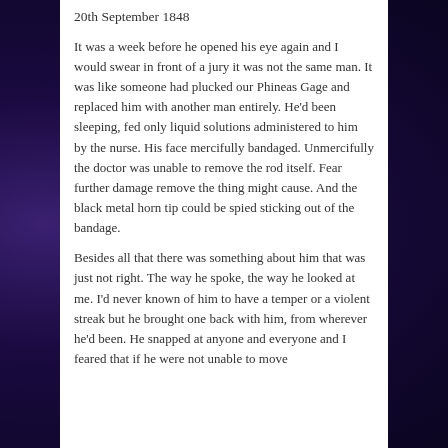20th September 1848
It was a week before he opened his eye again and I would swear in front of a jury it was not the same man. It was like someone had plucked our Phineas Gage and replaced him with another man entirely. He'd been sleeping, fed only liquid solutions administered to him by the nurse. His face mercifully bandaged. Unmercifully the doctor was unable to remove the rod itself. Fear further damage remove the thing might cause. And the black metal horn tip could be spied sticking out of the bandage.
Besides all that there was something about him that was just not right. The way he spoke, the way he looked at me. I'd never known of him to have a temper or a violent streak but he brought one back with him, from wherever he'd been. He snapped at anyone and everyone and I feared that if he were not unable to move